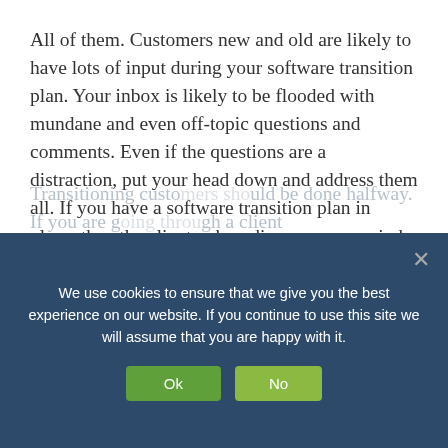All of them. Customers new and old are likely to have lots of input during your software transition plan. Your inbox is likely to be flooded with mundane and even off-topic questions and comments. Even if the questions are a distraction, put your head down and address them all. If you have a software transition plan in place, then the client onboarding process period will be just a small-window within a long relationship. Answering all of their questions or concerns now will build substantial rapport for the duration of your relationship.
We use cookies to ensure that we give you the best experience on our website. If you continue to use this site we will assume that you are happy with it.
Transitioning customers should be done halfway. If you are going through a client